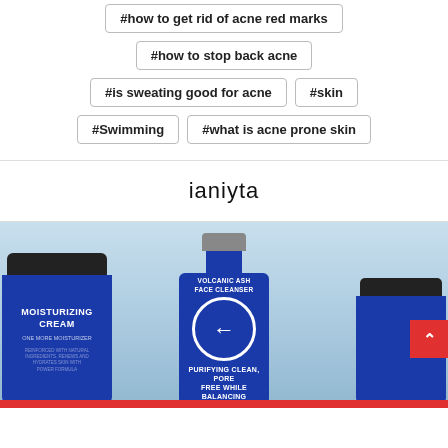#how to get rid of acne red marks
#how to stop back acne
#is sweating good for acne
#skin
#Swimming
#what is acne prone skin
ianiyta
[Figure (photo): Photo of skincare products: a jar labeled 'MOISTURIZING CREAM', a blue bottle labeled 'VOLCANIC ASH FACE CLEANSER', and another blue jar partially visible on the right, set against a blue watery background.]